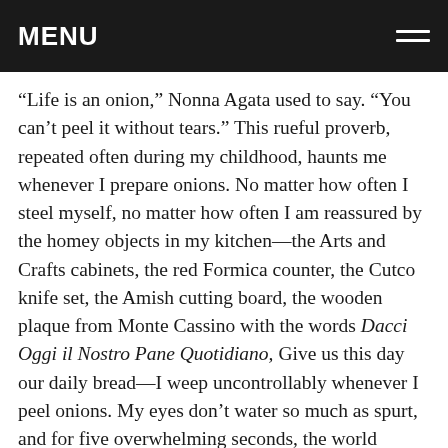MENU
“Life is an onion,” Nonna Agata used to say. “You can’t peel it without tears.” This rueful proverb, repeated often during my childhood, haunts me whenever I prepare onions. No matter how often I steel myself, no matter how often I am reassured by the homey objects in my kitchen—the Arts and Crafts cabinets, the red Formica counter, the Cutco knife set, the Amish cutting board, the wooden plaque from Monte Cassino with the words Dacci Oggi il Nostro Pane Quotidiano, Give us this day our daily bread—I weep uncontrollably whenever I peel onions. My eyes don’t water so much as spurt, and for five overwhelming seconds, the world consists of nothing but tears and onions.
Until recently, having grown up in a Jersey suburb instead of a Sicilian village, I found no comfort in my